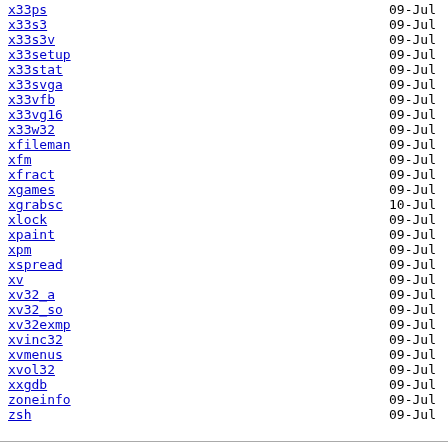x33ps  09-Jul
x33s3  09-Jul
x33s3v  09-Jul
x33setup  09-Jul
x33stat  09-Jul
x33svga  09-Jul
x33vfb  09-Jul
x33vg16  09-Jul
x33w32  09-Jul
xfileman  09-Jul
xfm  09-Jul
xfract  09-Jul
xgames  09-Jul
xgrabsc  10-Jul
xlock  09-Jul
xpaint  09-Jul
xpm  09-Jul
xspread  09-Jul
xv  09-Jul
xv32_a  09-Jul
xv32_so  09-Jul
xv32exmp  09-Jul
xvinc32  09-Jul
xvmenus  09-Jul
xvol32  09-Jul
xxgdb  09-Jul
zoneinfo  09-Jul
zsh  09-Jul